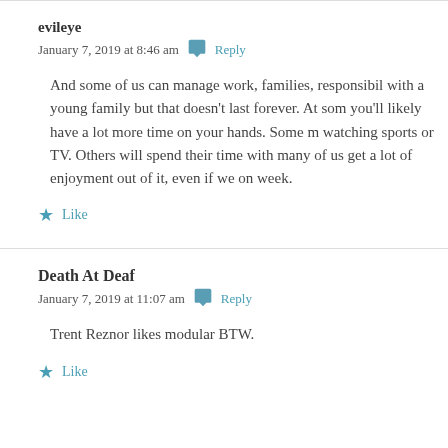evileye
January 7, 2019 at 8:46 am  Reply
And some of us can manage work, families, responsibil… with a young family but that doesn't last forever. At som… you'll likely have a lot more time on your hands. Some m… watching sports or TV. Others will spend their time with… many of us get a lot of enjoyment out of it, even if we on… week.
Like
Death At Deaf
January 7, 2019 at 11:07 am  Reply
Trent Reznor likes modular BTW.
Like